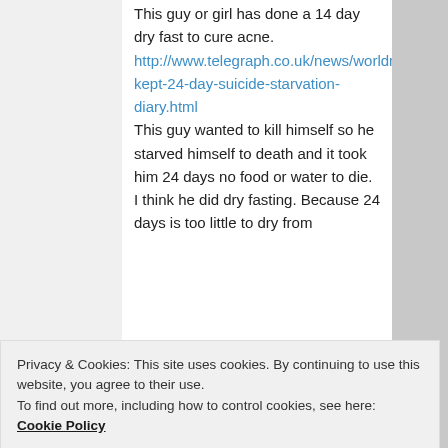This guy or girl has done a 14 day dry fast to cure acne.
http://www.telegraph.co.uk/news/worldnews/1578554/Man-kept-24-day-suicide-starvation-diary.html
This guy wanted to kill himself so he starved himself to death and it took him 24 days no food or water to die. I think he did dry fasting. Because 24 days is too little to dry from
Privacy & Cookies: This site uses cookies. By continuing to use this website, you agree to their use. To find out more, including how to control cookies, see here: Cookie Policy
fasting because of a